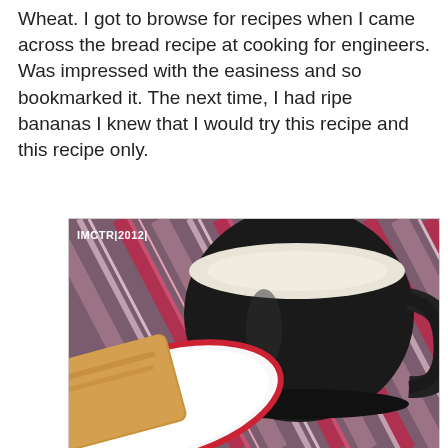Wheat. I got to browse for recipes when I came across the bread recipe at cooking for engineers. Was impressed with the easiness and so bookmarked it. The next time, I had ripe bananas I knew that I would try this recipe and this recipe only.
[Figure (photo): A black ceramic mug filled with milk, sitting on a striped red and purple cloth, next to a white plate with slices of banana bread. Watermark text reads 'IMCTR|2012|' in the upper left corner.]